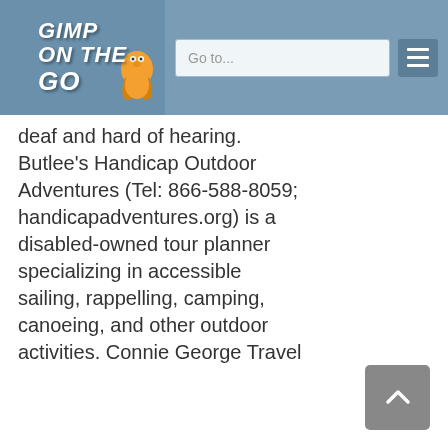Gimp on the Go
deaf and hard of hearing. Butlee's Handicap Outdoor Adventures (Tel: 866-588-8059; handicapadventures.org) is a disabled-owned tour planner specializing in accessible sailing, rappelling, camping, canoeing, and other outdoor activities. Connie George Travel